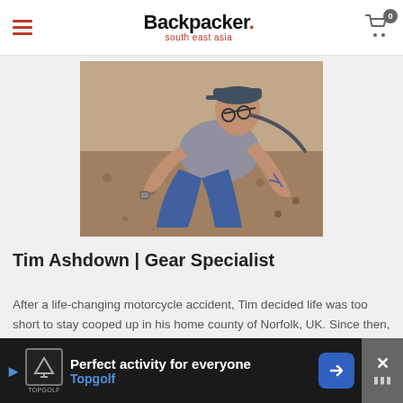Backpacker. south east asia
[Figure (photo): Person sitting on rocky/gravelly ground outdoors, wearing grey t-shirt and jeans, with tattoos on arms, looking to the side.]
Tim Ashdown | Gear Specialist
After a life-changing motorcycle accident, Tim decided life was too short to stay cooped up in his home county of Norfolk, UK. Since then, he has travelled Southeast Asia, walked the
[Figure (infographic): Advertisement banner: Perfect activity for everyone - Topgolf]